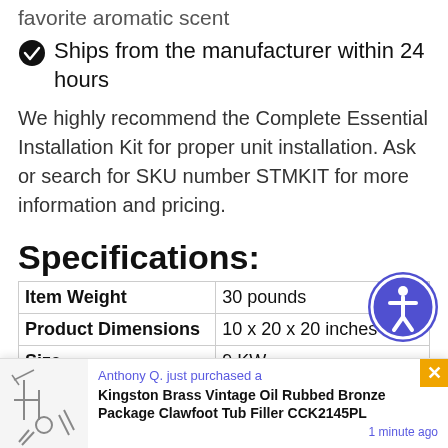favorite aromatic scent
Ships from the manufacturer within 24 hours
We highly recommend the Complete Essential Installation Kit for proper unit installation. Ask or search for SKU number STMKIT for more information and pricing.
Specifications:
| Attribute | Value |
| --- | --- |
| Item Weight | 30 pounds |
| Product Dimensions | 10 x 20 x 20 inches |
| Size | 9 KW |
| Color | Brushed Nickel |
| Finish | Nickel |
| Material | Stainless Steel |
[Figure (other): Accessibility icon button — circular blue badge with white person/wheelchair symbol]
Anthony Q. just purchased a Kingston Brass Vintage Oil Rubbed Bronze Package Clawfoot Tub Filler CCK2145PL — 1 minute ago